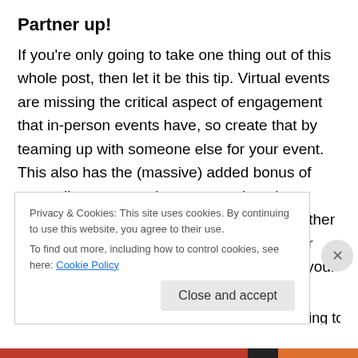Partner up!
If you're only going to take one thing out of this whole post, then let it be this tip. Virtual events are missing the critical aspect of engagement that in-person events have, so create that by teaming up with someone else for your event. This also has the (massive) added bonus of expanding your reach as you tap into that person's audience as well. Whether it's another writer, an expert on a subject related to your book, a colleague or friend, someone from your publisher, or a bookseller or librarian, by bringing them on board they will be promoting to their
Privacy & Cookies: This site uses cookies. By continuing to use this website, you agree to their use.
To find out more, including how to control cookies, see here: Cookie Policy